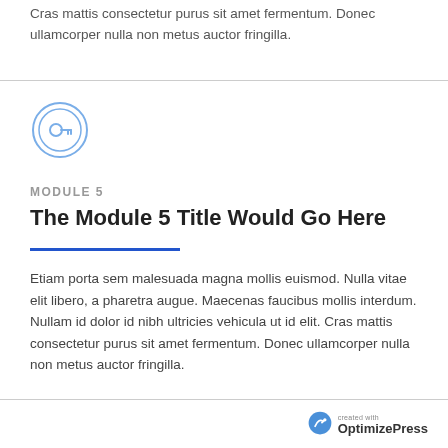Cras mattis consectetur purus sit amet fermentum. Donec ullamcorper nulla non metus auctor fringilla.
[Figure (illustration): Circular icon with a key/settings symbol in blue outline style]
MODULE 5
The Module 5 Title Would Go Here
Etiam porta sem malesuada magna mollis euismod. Nulla vitae elit libero, a pharetra augue. Maecenas faucibus mollis interdum. Nullam id dolor id nibh ultricies vehicula ut id elit. Cras mattis consectetur purus sit amet fermentum. Donec ullamcorper nulla non metus auctor fringilla.
created with OptimizePress